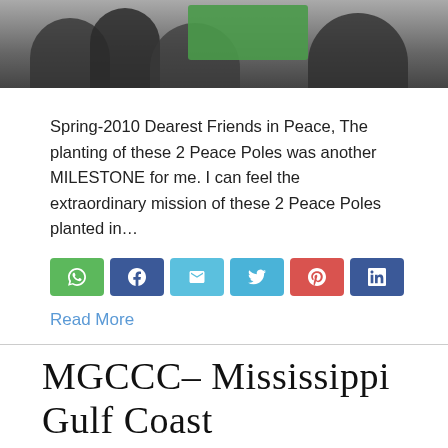[Figure (photo): Bottom portion of a photograph showing people, cropped at top of page]
Spring-2010 Dearest Friends in Peace, The planting of these 2 Peace Poles was another MILESTONE for me. I can feel the extraordinary mission of these 2 Peace Poles planted in…
[Figure (infographic): Row of social share buttons: WhatsApp (green), Facebook (blue), Email (teal), Twitter (light blue), Pinterest (red), LinkedIn (dark blue)]
Read More
MGCCC– Mississippi Gulf Coast Community College – Gulf Port Ma